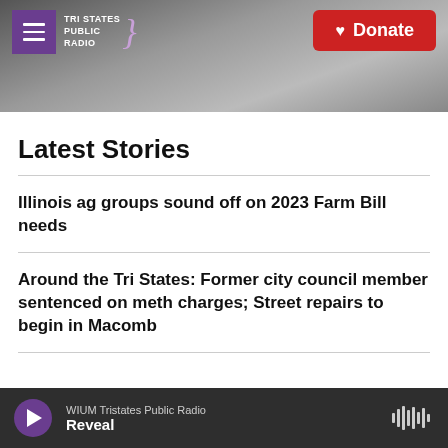[Figure (screenshot): Tri States Public Radio website header with logo, hamburger menu, and red Donate button on a grayscale photo background of a radio tower.]
Latest Stories
Illinois ag groups sound off on 2023 Farm Bill needs
Around the Tri States: Former city council member sentenced on meth charges; Street repairs to begin in Macomb
WIUM Tristates Public Radio — Reveal